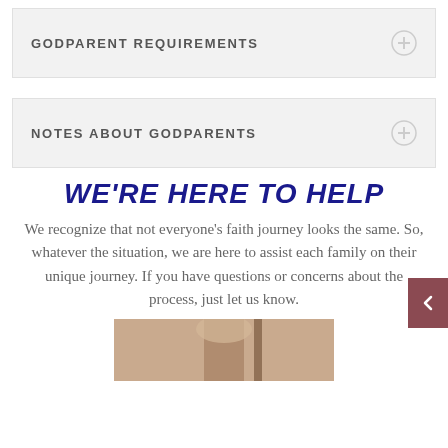GODPARENT REQUIREMENTS
NOTES ABOUT GODPARENTS
WE'RE HERE TO HELP
We recognize that not everyone's faith journey looks the same. So, whatever the situation, we are here to assist each family on their unique journey. If you have questions or concerns about the process, just let us know.
[Figure (photo): Partial photo of a person, cropped at bottom of page]